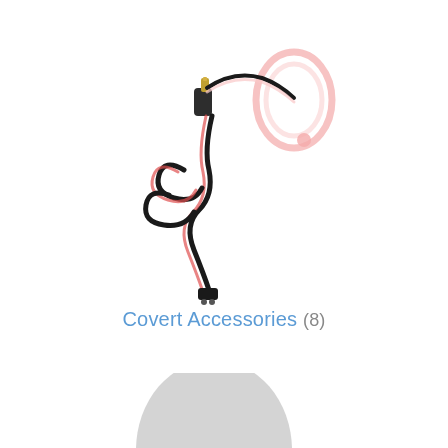[Figure (photo): A covert earpiece/earphone with a clear acoustic tube and a lapel mic/PTT button, connected by a coiled cable with a two-pin connector at the bottom.]
Covert Accessories (8)
[Figure (photo): A mannequin head wearing a small D-shaped earpiece/receiver in the ear, showing how the covert accessory is worn.]